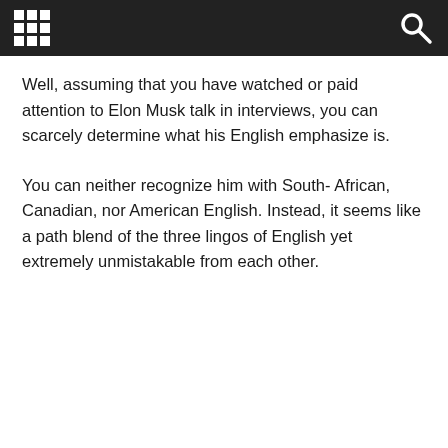[navigation bar with grid menu and search icon]
Well, assuming that you have watched or paid attention to Elon Musk talk in interviews, you can scarcely determine what his English emphasize is.
You can neither recognize him with South- African, Canadian, nor American English. Instead, it seems like a path blend of the three lingos of English yet extremely unmistakable from each other.